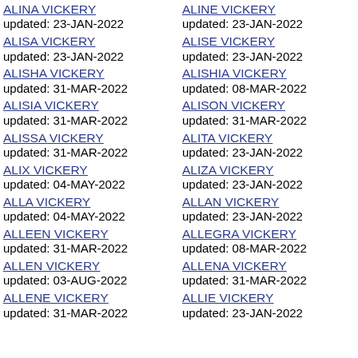ALINA VICKERY
updated: 23-JAN-2022
ALINE VICKERY
updated: 23-JAN-2022
ALISA VICKERY
updated: 23-JAN-2022
ALISE VICKERY
updated: 23-JAN-2022
ALISHA VICKERY
updated: 31-MAR-2022
ALISHIA VICKERY
updated: 08-MAR-2022
ALISIA VICKERY
updated: 31-MAR-2022
ALISON VICKERY
updated: 31-MAR-2022
ALISSA VICKERY
updated: 31-MAR-2022
ALITA VICKERY
updated: 23-JAN-2022
ALIX VICKERY
updated: 04-MAY-2022
ALIZA VICKERY
updated: 23-JAN-2022
ALLA VICKERY
updated: 04-MAY-2022
ALLAN VICKERY
updated: 23-JAN-2022
ALLEEN VICKERY
updated: 31-MAR-2022
ALLEGRA VICKERY
updated: 08-MAR-2022
ALLEN VICKERY
updated: 03-AUG-2022
ALLENA VICKERY
updated: 31-MAR-2022
ALLENE VICKERY
updated: 31-MAR-2022
ALLIE VICKERY
updated: 23-JAN-2022